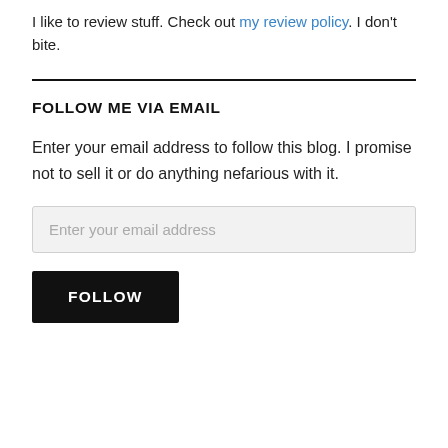I like to review stuff. Check out my review policy. I don't bite.
FOLLOW ME VIA EMAIL
Enter your email address to follow this blog. I promise not to sell it or do anything nefarious with it.
Enter your email address
FOLLOW